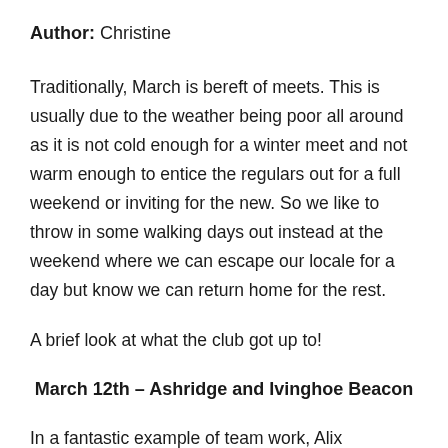Author: Christine
Traditionally, March is bereft of meets. This is usually due to the weather being poor all around as it is not cold enough for a winter meet and not warm enough to entice the regulars out for a full weekend or inviting for the new. So we like to throw in some walking days out instead at the weekend where we can escape our locale for a day but know we can return home for the rest.
A brief look at what the club got up to!
March 12th – Ashridge and Ivinghoe Beacon
In a fantastic example of team work, Alix organised the walk and due to being unable to lead that day David stepped in to guide us through from Tring station all the